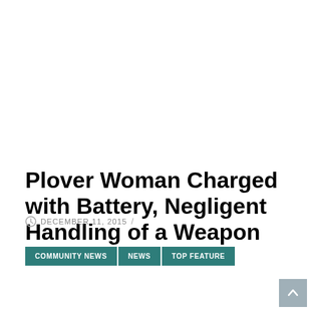Plover Woman Charged with Battery, Negligent Handling of a Weapon
DECEMBER 11, 2015 /
COMMUNITY NEWS  NEWS  TOP FEATURE